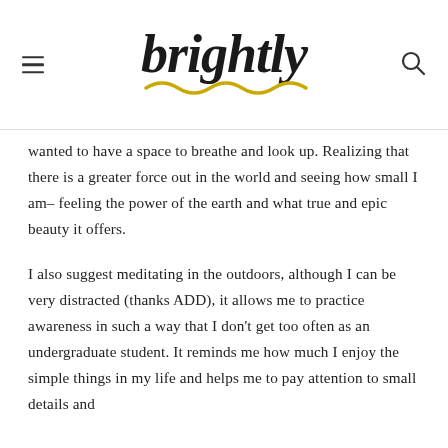brightly
wanted to have a space to breathe and look up. Realizing that there is a greater force out in the world and seeing how small I am– feeling the power of the earth and what true and epic beauty it offers.
I also suggest meditating in the outdoors, although I can be very distracted (thanks ADD), it allows me to practice awareness in such a way that I don't get too often as an undergraduate student. It reminds me how much I enjoy the simple things in my life and helps me to pay attention to small details and